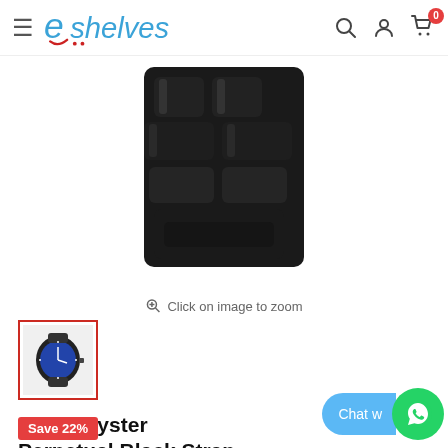eshelves — navigation bar with hamburger menu, search, account, and cart (0 items)
[Figure (photo): Close-up of the clasp/bracelet of a black metal Rolex Oyster Perpetual watch, viewed from the bottom]
Click on image to zoom
[Figure (photo): Thumbnail of Rolex Oyster Perpetual watch with blue dial and black strap, selected with red border]
Rolex Oyster Perpetual Black Strap Blue Dial
Save 22%